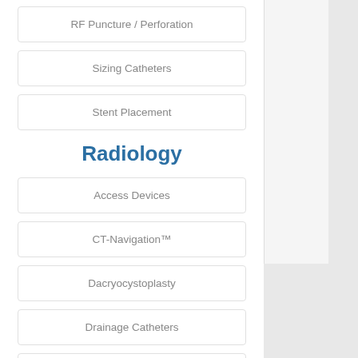RF Puncture / Perforation
Sizing Catheters
Stent Placement
Radiology
Access Devices
CT-Navigation™
Dacryocystoplasty
Drainage Catheters
Introducer Sheath